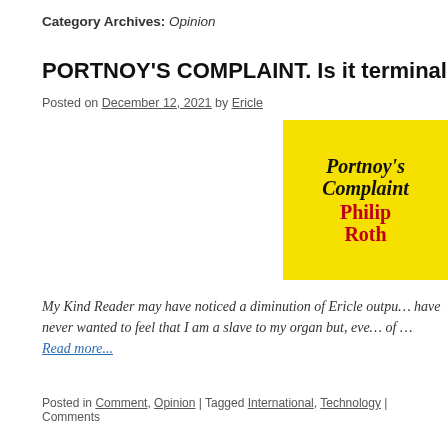Category Archives: Opinion
PORTNOY'S COMPLAINT. Is it terminal?
Posted on December 12, 2021 by Ericle
[Figure (illustration): Book cover of Portnoy's Complaint by Philip Roth — yellow background with black serif title text 'Portnoy's Complaint' and red author name 'Philip Roth']
My Kind Reader may have noticed a diminution of Ericle output... have never wanted to feel that I am a slave to my organ but, eve... of … Read more...
Posted in Comment, Opinion | Tagged International, Technology | Comments